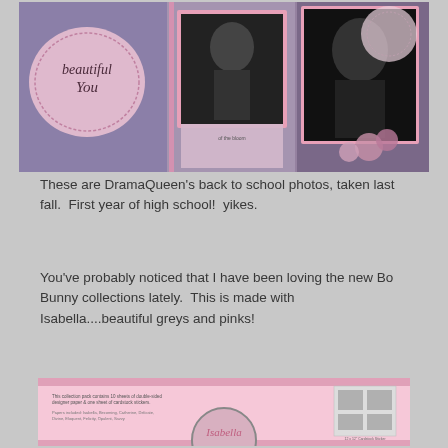[Figure (photo): Scrapbook layout titled 'beautiful You' featuring two black-and-white school photos of a teenage girl, decorated with pink and grey papers, roses, and ribbon embellishments in Bo Bunny Isabella collection style.]
These are DramaQueen's back to school photos, taken last fall.  First year of high school!  yikes.
You've probably noticed that I have been loving the new Bo Bunny collections lately.  This is made with Isabella....beautiful greys and pinks!
[Figure (photo): Product packaging for Bo Bunny Isabella collection pack. Pink background with small print text describing contents: 10 sheets of double-sided designer paper and one sheet of cardstock stickers. Papers include: Isabella, Becoming, Catherine, Delicate, Divine, Eloquent, Felicity, Opulent, Savvy. Shows sticker sheet preview on right side and Isabella logo in cursive at bottom center.]